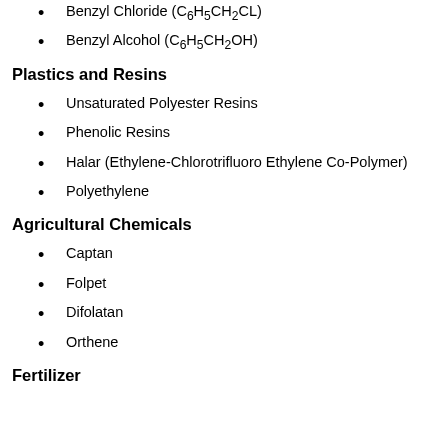Benzyl Chloride (C6H5CH2CL)
Benzyl Alcohol (C6H5CH2OH)
Plastics and Resins
Unsaturated Polyester Resins
Phenolic Resins
Halar (Ethylene-Chlorotrifluoro Ethylene Co-Polymer)
Polyethylene
Agricultural Chemicals
Captan
Folpet
Difolatan
Orthene
Fertilizer